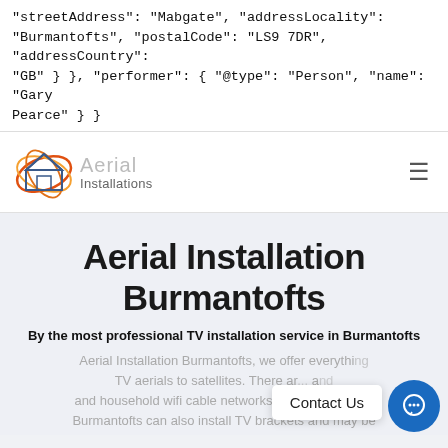"streetAddress": "Mabgate", "addressLocality": "Burmantofts", "postalCode": "LS9 7DR", "addressCountry": "GB" } }, "performer": { "@type": "Person", "name": "Gary Pearce" } }
[Figure (logo): Aerial Installations logo with orange circular swoosh lines around a house icon, with text 'Aerial Installations']
Aerial Installation Burmantofts
By the most professional TV installation service in Burmantofts
Aerial Installation Burmantofts, we offer everything TV aerials to satellites. There ar... and household wifi cable networks available. Aerials Burmantofts can also install TV brackets and may be